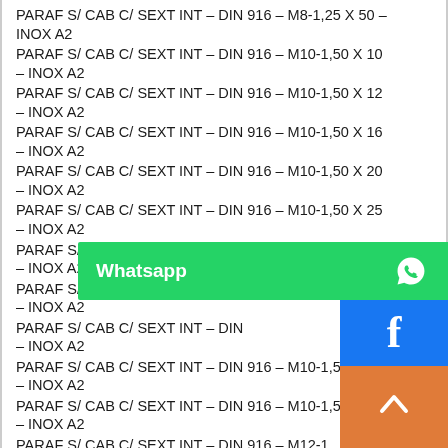PARAF S/ CAB C/ SEXT INT – DIN 916 – M8-1,25 X 50 – INOX A2
PARAF S/ CAB C/ SEXT INT – DIN 916 – M10-1,50 X 10 – INOX A2
PARAF S/ CAB C/ SEXT INT – DIN 916 – M10-1,50 X 12 – INOX A2
PARAF S/ CAB C/ SEXT INT – DIN 916 – M10-1,50 X 16 – INOX A2
PARAF S/ CAB C/ SEXT INT – DIN 916 – M10-1,50 X 20 – INOX A2
PARAF S/ CAB C/ SEXT INT – DIN 916 – M10-1,50 X 25 – INOX A2
PARAF S/ CAB C/ SEXT INT – DIN 916 – M10-1,50 X 30 – INOX A2
PARAF S/ CAB C/ SEXT INT – DIN 916 – M10-1,50 X 35 – INOX A2
PARAF S/ CAB C/ SEXT INT – DIN 916 – M10-1,50 X [partially obscured] – INOX A2
PARAF S/ CAB C/ SEXT INT – DIN 916 – M10-1,50 X [partially obscured] – INOX A2
PARAF S/ CAB C/ SEXT INT – DIN 916 – M10-1,50 X [partially obscured] – INOX A2
PARAF S/ CAB C/ SEXT INT – DIN 916 – M12-1,[partially obscured] – INOX A2